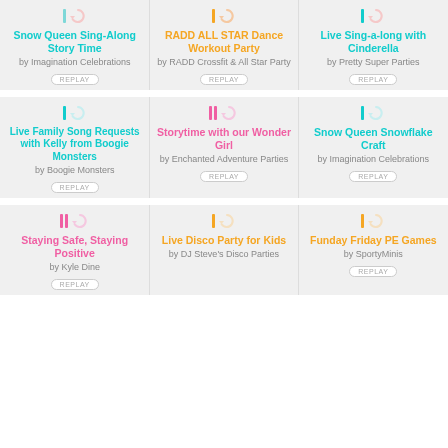[Figure (other): Icon for Snow Queen Sing-Along Story Time]
Snow Queen Sing-Along Story Time
by Imagination Celebrations
REPLAY
[Figure (other): Icon for RADD ALL STAR Dance Workout Party]
RADD ALL STAR Dance Workout Party
by RADD Crossfit & All Star Party
REPLAY
[Figure (other): Icon for Live Sing-a-long with Cinderella]
Live Sing-a-long with Cinderella
by Pretty Super Parties
REPLAY
[Figure (other): Icon for Live Family Song Requests with Kelly from Boogie Monsters]
Live Family Song Requests with Kelly from Boogie Monsters
by Boogie Monsters
REPLAY
[Figure (other): Icon for Storytime with our Wonder Girl]
Storytime with our Wonder Girl
by Enchanted Adventure Parties
REPLAY
[Figure (other): Icon for Snow Queen Snowflake Craft]
Snow Queen Snowflake Craft
by Imagination Celebrations
REPLAY
[Figure (other): Icon for Staying Safe, Staying Positive]
Staying Safe, Staying Positive
by Kyle Dine
REPLAY
[Figure (other): Icon for Live Disco Party for Kids]
Live Disco Party for Kids
by DJ Steve's Disco Parties
[Figure (other): Icon for Funday Friday PE Games]
Funday Friday PE Games
by SportyMinis
REPLAY